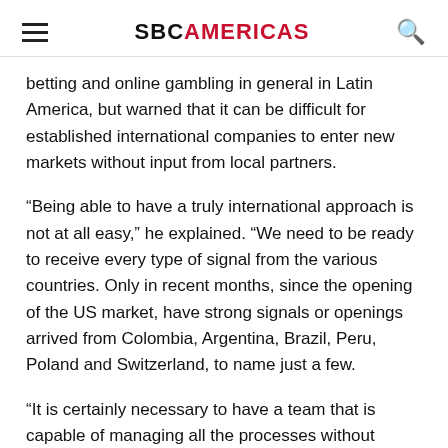SBC AMERICAS
betting and online gambling in general in Latin America, but warned that it can be difficult for established international companies to enter new markets without input from local partners.
“Being able to have a truly international approach is not at all easy,” he explained. “We need to be ready to receive every type of signal from the various countries. Only in recent months, since the opening of the US market, have strong signals or openings arrived from Colombia, Argentina, Brazil, Peru, Poland and Switzerland, to name just a few.
“It is certainly necessary to have a team that is capable of managing all the processes without neglecting the various facets of compliance and legal requirements. The